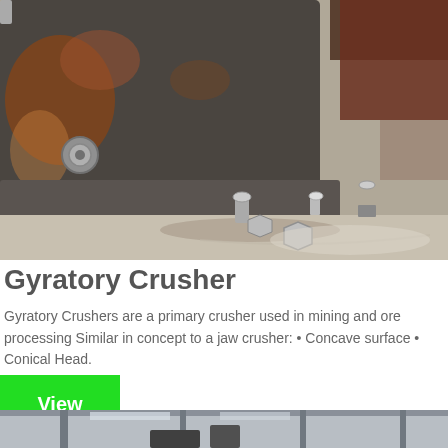[Figure (photo): Close-up photo of a gyratory crusher base showing heavy metal machinery with bolts, nuts, rust stains, and a concrete floor]
Gyratory Crusher
Gyratory Crushers are a primary crusher used in mining and ore processing Similar in concept to a jaw crusher: • Concave surface • Conical Head.
View
[Figure (photo): Partial photo of industrial facility interior showing structural beams and machinery at the bottom of the page]